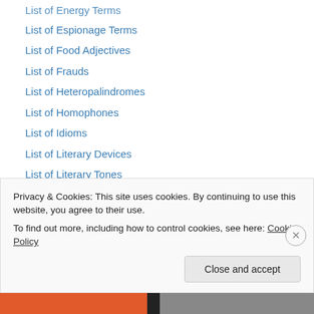List of Energy Terms
List of Espionage Terms
List of Food Adjectives
List of Frauds
List of Heteropalindromes
List of Homophones
List of Idioms
List of Literary Devices
List of Literary Tones
List of Physical Appearance Adjectives
List of Physics Terms
List of Positive Personality Adjectives
List of Prefixes
List of Prepositions
Privacy & Cookies: This site uses cookies. By continuing to use this website, you agree to their use.
To find out more, including how to control cookies, see here: Cookie Policy